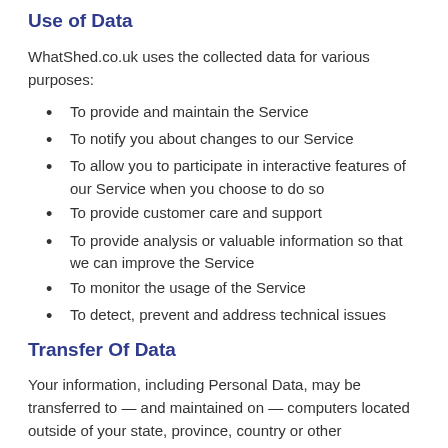Use of Data
WhatShed.co.uk uses the collected data for various purposes:
To provide and maintain the Service
To notify you about changes to our Service
To allow you to participate in interactive features of our Service when you choose to do so
To provide customer care and support
To provide analysis or valuable information so that we can improve the Service
To monitor the usage of the Service
To detect, prevent and address technical issues
Transfer Of Data
Your information, including Personal Data, may be transferred to — and maintained on — computers located outside of your state, province, country or other governmental jurisdiction where the data protection laws may differ than those from your jurisdiction.